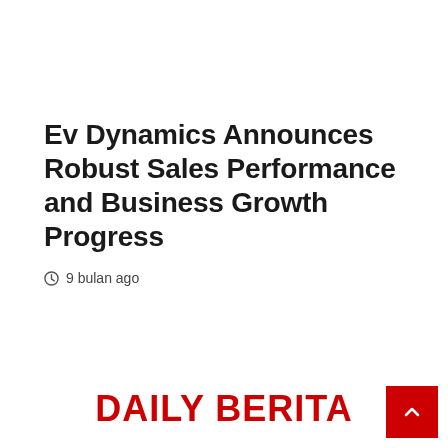Ev Dynamics Announces Robust Sales Performance and Business Growth Progress
9 bulan ago
DAILY BERITA